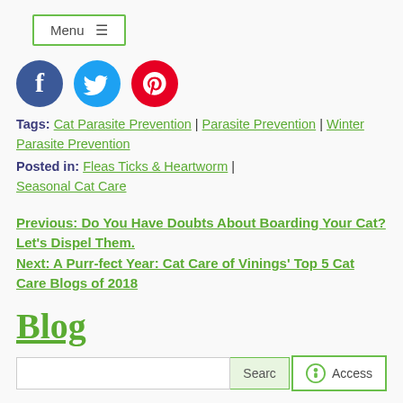[Figure (other): Menu button with hamburger icon, green border]
[Figure (other): Social media icons: Facebook (blue circle with f), Twitter (blue circle with bird), Pinterest (red circle with P)]
Tags: Cat Parasite Prevention | Parasite Prevention | Winter Parasite Prevention
Posted in: Fleas Ticks & Heartworm | Seasonal Cat Care
Previous: Do You Have Doubts About Boarding Your Cat? Let's Dispel Them.
Next: A Purr-fect Year: Cat Care of Vinings' Top 5 Cat Care Blogs of 2018
Blog
[Figure (other): Search input box with Search button and Access button with accessibility icon]